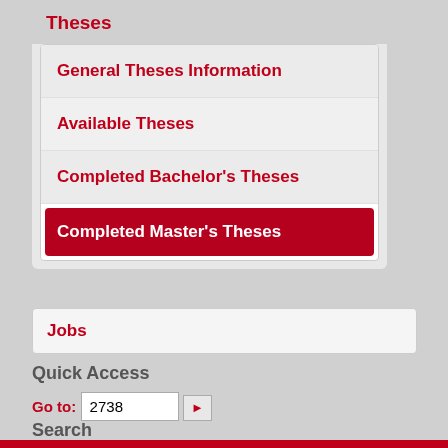Theses
General Theses Information
Available Theses
Completed Bachelor's Theses
Completed Master's Theses
Jobs
Quick Access
Go to: 2738
Search
Search  search for ...